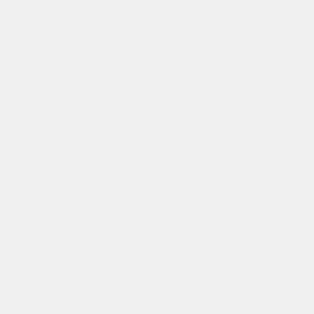measure progress and adjust strategies, • Set accountability expectations that encourage managers to innovate, and • Deliver transparent, coherent, and candid communication of results. The retooling of strategic plans, creation of agency and